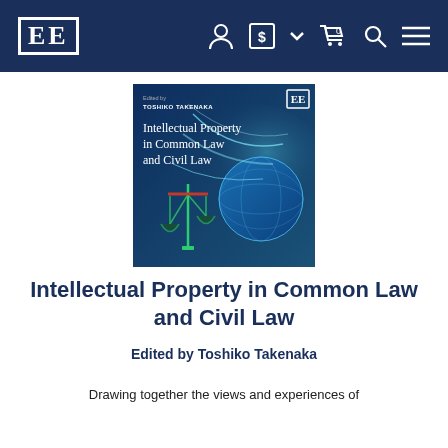[Figure (logo): Edward Elgar Publishing logo - EE in a bordered box, white on navy background, with navigation icons (user, currency, cart, search, menu) in white on navy bar]
[Figure (photo): Book cover of 'Intellectual Property in Common Law and Civil Law' edited by Toshiko Takenaka. Dark blue background with abstract glowing lines, a globe, and scales of justice imagery. EE publisher logo in top right corner.]
Intellectual Property in Common Law and Civil Law
Edited by Toshiko Takenaka
Drawing together the views and experiences of